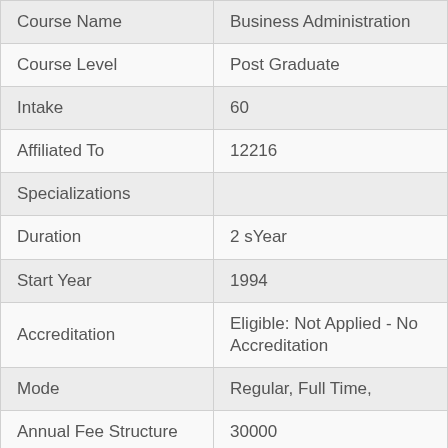| Field | Value |
| --- | --- |
| Course Name | Business Administration |
| Course Level | Post Graduate |
| Intake | 60 |
| Affiliated To | 12216 |
| Specializations |  |
| Duration | 2 sYear |
| Start Year | 1994 |
| Accreditation | Eligible: Not Applied - No Accreditation |
| Mode | Regular, Full Time, |
| Annual Fee Structure | 30000 |